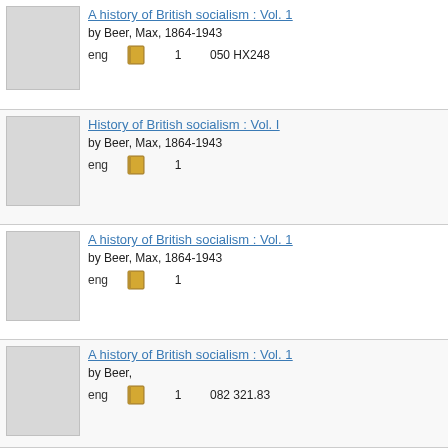A history of British socialism : Vol. 1 by Beer, Max, 1864-1943 | eng | 1 | 050 HX248
History of British socialism : Vol. I by Beer, Max, 1864-1943 | eng | 1
A history of British socialism : Vol. 1 by Beer, Max, 1864-1943 | eng | 1
A history of British socialism : Vol. 1 by Beer, Max, 1864-1943 | eng | 1 | 082 321.83